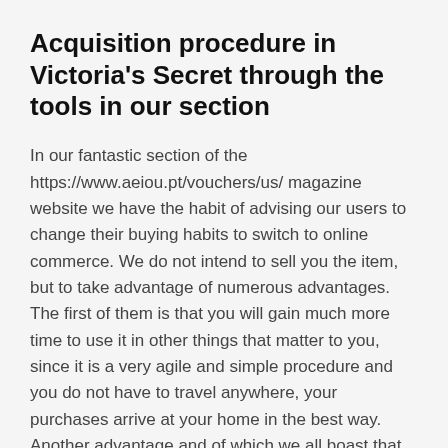Acquisition procedure in Victoria's Secret through the tools in our section
In our fantastic section of the https://www.aeiou.pt/vouchers/us/ magazine website we have the habit of advising our users to change their buying habits to switch to online commerce. We do not intend to sell you the item, but to take advantage of numerous advantages. The first of them is that you will gain much more time to use it in other things that matter to you, since it is a very agile and simple procedure and you do not have to travel anywhere, your purchases arrive at your home in the best way. Another advantage and of which we all boast that we have created this section, is that we help you save a good amount of money while you acquire those things or